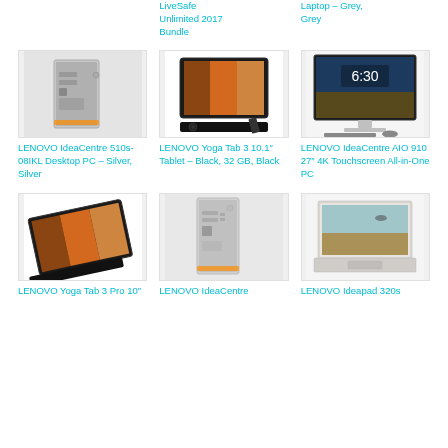LiveSafe Unlimited 2017 Bundle
Laptop – Grey, Grey
[Figure (photo): LENOVO IdeaCentre 510s-08IKL Desktop PC – silver tower]
LENOVO IdeaCentre 510s-08IKL Desktop PC – Silver, Silver
[Figure (photo): LENOVO Yoga Tab 3 10.1 inch Tablet – Black]
LENOVO Yoga Tab 3 10.1″ Tablet – Black, 32 GB, Black
[Figure (photo): LENOVO IdeaCentre AIO 910 27 inch 4K Touchscreen All-in-One PC]
LENOVO IdeaCentre AIO 910 27″ 4K Touchscreen All-in-One PC
[Figure (photo): LENOVO Yoga Tab 3 Pro 10 inch tablet]
LENOVO Yoga Tab 3 Pro 10″
[Figure (photo): LENOVO IdeaCentre desktop tower]
LENOVO IdeaCentre
[Figure (photo): LENOVO Ideapad 320s laptop]
LENOVO Ideapad 320s